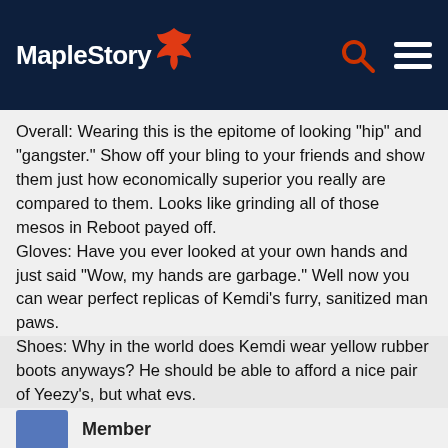MapleStory
Overall: Wearing this is the epitome of looking "hip" and "gangster." Show off your bling to your friends and show them just how economically superior you really are compared to them. Looks like grinding all of those mesos in Reboot payed off.
Gloves: Have you ever looked at your own hands and just said "Wow, my hands are garbage." Well now you can wear perfect replicas of Kemdi's furry, sanitized man paws.
Shoes: Why in the world does Kemdi wear yellow rubber boots anyways? He should be able to afford a nice pair of Yeezy's, but what evs.
Weapon: Show the whole world your super cool rapping skills with your microphone and play Maplestory with the new Razor keyboard that you bought off of a sketchy vendor on Amazon.
[Figure (other): Four small game character thumbnails in a row]
Member